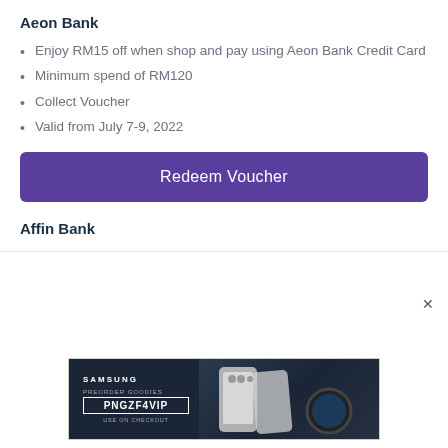Aeon Bank
Enjoy RM15 off when shop and pay using Aeon Bank Credit Card
Minimum spend of RM120
Collect Voucher
Valid from July 7-9, 2022
Redeem Voucher
Affin Bank
[Figure (screenshot): Samsung advertisement banner with dark background showing 'PREORDER GOODIES' text, promo code PNGZF4VIP, 'USE ON CHECKOUT' subtext, Samsung logo, and product images of phones and a smartwatch on the right side.]